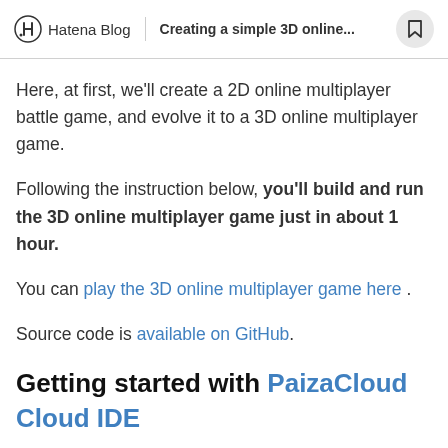Hatena Blog | Creating a simple 3D online...
Here, at first, we'll create a 2D online multiplayer battle game, and evolve it to a 3D online multiplayer game.
Following the instruction below, you'll build and run the 3D online multiplayer game just in about 1 hour.
You can play the 3D online multiplayer game here .
Source code is available on GitHub.
Getting started with PaizaCloud Cloud IDE